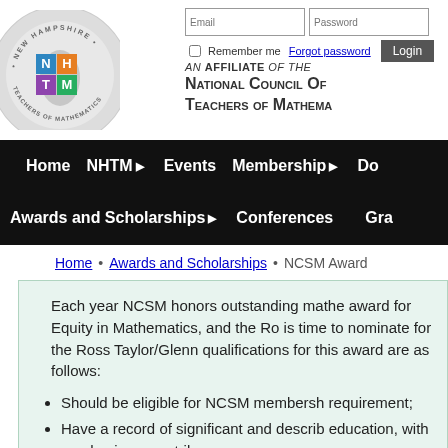[Figure (logo): NHTM New Hampshire Teachers of Mathematics circular logo with colorful N H T M letters in colored squares]
[Figure (screenshot): Login form with Email and Password fields, Remember me checkbox, Forgot password link, and Login button]
AN AFFILIATE OF THE NATIONAL COUNCIL OF TEACHERS OF MATHEMATICS
Home
NHTM ▶
Events
Membership ▶
Do
Awards and Scholarships ▶
Conferences
Gra
Home • Awards and Scholarships • NCSM Award
Each year NCSM honors outstanding mathe award for Equity in Mathematics, and the Ro is time to nominate for the Ross Taylor/Glenn qualifications for this award are as follows:
Should be eligible for NCSM membersh requirement;
Have a record of significant and describ education, with emphasis on contribu